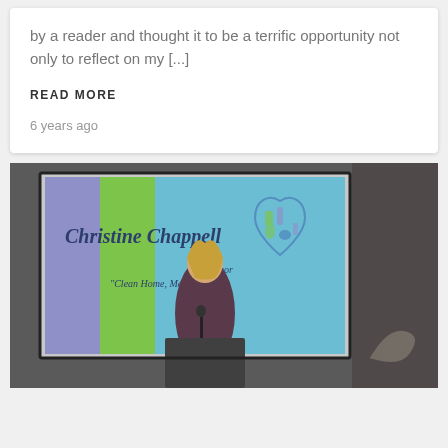by a reader and thought it to be a terrific opportunity not only to reflect on my [...]
READ MORE
6 years ago
[Figure (photo): A woman with blonde hair standing at a podium speaking, with a presentation screen behind her showing 'Christine Chappell, Author, Clean Home, Messy Heart' with a heart-shaped illustration made of cleaning items, against a colorful background with purple, green, and blue vertical stripes.]